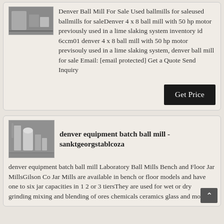[Figure (photo): Thumbnail photo of industrial ball mill equipment, top of first card]
Denver Ball Mill For Sale Used ballmills for saleused ballmills for saleDenver 4 x 8 ball mill with 50 hp motor previously used in a lime slaking system inventory id 6ccm01 denver 4 x 8 ball mill with 50 hp motor previsouly used in a lime slaking system, denver ball mill for sale Email: [email protected] Get a Quote Send Inquiry
Get Price
[Figure (photo): Thumbnail photo of industrial facility with large equipment/silos]
denver equipment batch ball mill - sanktgeorgstablcoza
denver equipment batch ball mill Laboratory Ball Mills Bench and Floor Jar MillsGilson Co Jar Mills are available in bench or floor models and have one to six jar capacities in 1 2 or 3 tiersThey are used for wet or dry grinding mixing and blending of ores chemicals ceramics glass and more